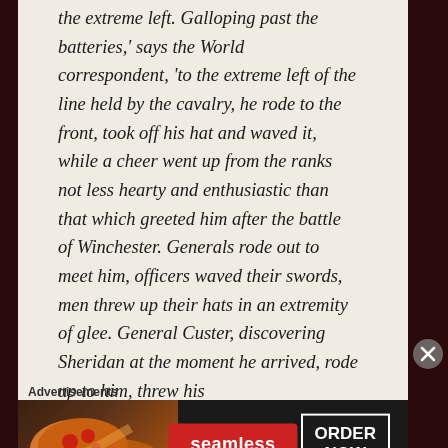the extreme left. Galloping past the batteries,' says the World correspondent, 'to the extreme left of the line held by the cavalry, he rode to the front, took off his hat and waved it, while a cheer went up from the ranks not less hearty and enthusiastic than that which greeted him after the battle of Winchester. Generals rode out to meet him, officers waved their swords, men threw up their hats in an extremity of glee. General Custer, discovering Sheridan at the moment he arrived, rode up to him, threw his
Advertisements
[Figure (infographic): Seamless food delivery advertisement banner with pizza image on left, red Seamless logo in center, and 'ORDER NOW' button in white border on right, all on dark background]